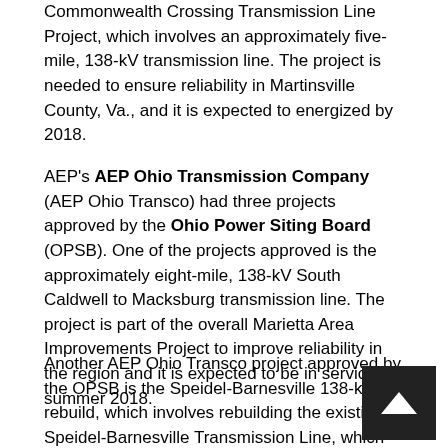Commonwealth Crossing Transmission Line Project, which involves an approximately five-mile, 138-kV transmission line. The project is needed to ensure reliability in Martinsville County, Va., and it is expected to energized by 2018.
AEP's AEP Ohio Transmission Company (AEP Ohio Transco) had three projects approved by the Ohio Power Siting Board (OPSB). One of the projects approved is the approximately eight-mile, 138-kV South Caldwell to Macksburg transmission line. The project is part of the overall Marietta Area Improvements Project to improve reliability in the region and it is expected to be in service in summer 2018.
Another AEP Ohio Transco project approved by the OPSB is the Speidel-Barnesville 138-kV rebuild, which involves rebuilding the existing Speidel-Barnesville Transmission Line, which services the village of Barnesville and was built in 1914. AEP Ohio Transco